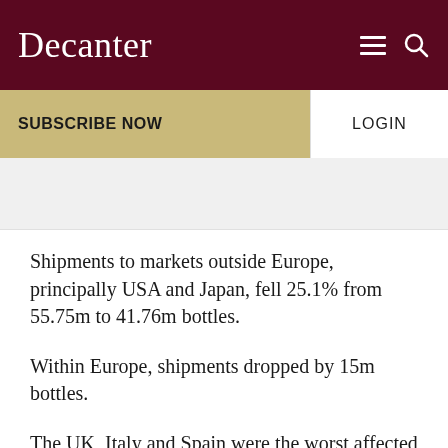Decanter
SUBSCRIBE NOW
LOGIN
[Figure (other): Grey advertisement placeholder banner]
Shipments to markets outside Europe, principally USA and Japan, fell 25.1% from 55.75m to 41.76m bottles.
Within Europe, shipments dropped by 15m bottles.
The UK, Italy and Spain were the worst affected